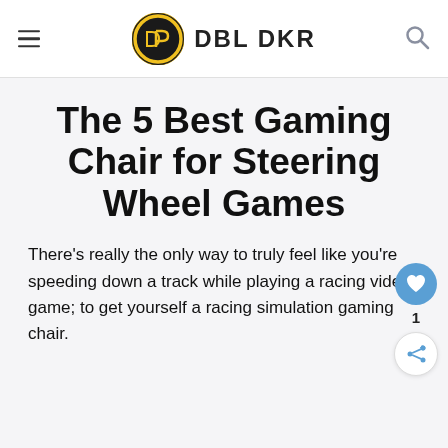DBL DKR
The 5 Best Gaming Chair for Steering Wheel Games
There's really the only way to truly feel like you're speeding down a track while playing a racing video game; to get yourself a racing simulation gaming chair. Sim racing games really do take on a whole new level of fun and excitement when you add in the proper equipment.